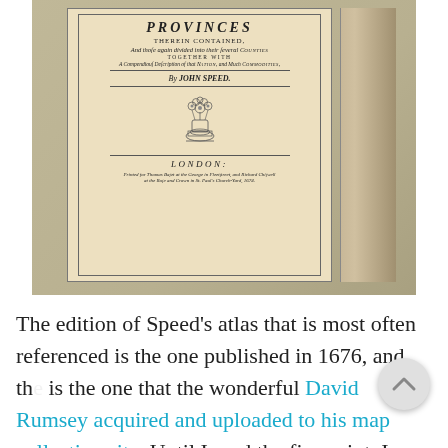[Figure (photo): Photograph of an open antique book showing a title page with ornamental border. The title page reads: PROVINCES THEREIN CONTAINED, And those again divided into their several Counties, TOGETHER WITH A Compendious Description of that Nation, and much Commodities, By JOHN SPEED. An ornamental vase with flowers, then LONDON: Printed for Thomas Basset at the George in Fleetstreet, and Richard Chiswell at the Rose and Crown in St. Paul's Church-Yard, 1674. The book has visible spine pages on the right.]
The edition of Speed’s atlas that is most often referenced is the one published in 1676, and th is the one that the wonderful David Rumsey acquired and uploaded to his map collection site. Until I read the fine print, I hadn’t realised that the